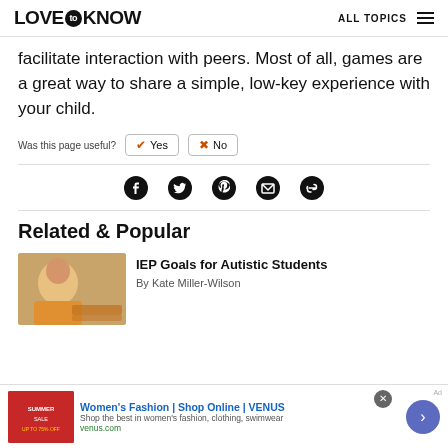LOVE TO KNOW | ALL TOPICS
facilitate interaction with peers. Most of all, games are a great way to share a simple, low-key experience with your child.
Was this page useful? Yes No
[Figure (infographic): Social sharing icons: Facebook, Twitter, Pinterest, Email, Link]
Related & Popular
[Figure (photo): Child playing chess, used as thumbnail for IEP Goals article]
IEP Goals for Autistic Students
By Kate Miller-Wilson
[Figure (infographic): Ad banner: Women's Fashion | Shop Online | VENUS]